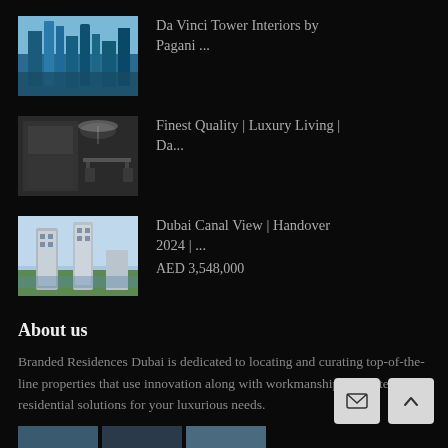[Figure (photo): Aerial view of Da Vinci Tower skyscrapers by the waterfront in Dubai]
Da Vinci Tower Interiors by Pagani ...
[Figure (photo): Interior dining area with dark walls and modern chandelier lighting]
Finest Quality | Luxury Living | Da...
[Figure (photo): Dubai Canal View towers with waterfront and landscaping]
Dubai Canal View | Handover 2024 | ...
AED 3,548,000
About us
Branded Residences Dubai is dedicated to locating and curating top-of-the-line properties that use innovation along with workmanship to create great residential solutions for your luxurious needs.